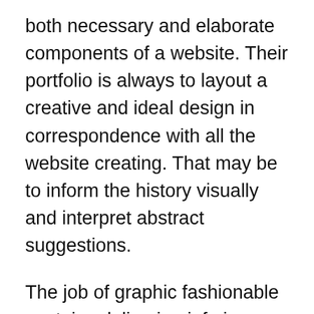both necessary and elaborate components of a website. Their portfolio is always to layout a creative and ideal design in correspondence with all the website creating. That may be to inform the history visually and interpret abstract suggestions.
The job of graphic fashionable contains delivering info in an interesting approach as the information is mainly for ads or coverage in the item providers or maybe the company. The particular designs and number of styles are determined in coordination with all the clients accentuating the positives very really. Color